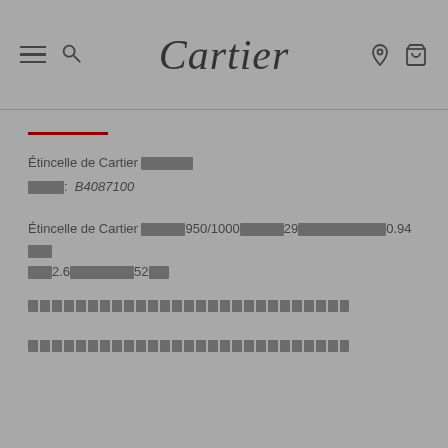Cartier navigation header with menu, search, logo, location, and bag icons
Étincelle de Cartier [redacted]
[redacted]: B4087100
Étincelle de Cartier [redacted]950/1000[redacted]29[redacted]0.94[redacted][redacted]2.6[redacted]52[redacted]
[redacted bar line]
[redacted bar line]